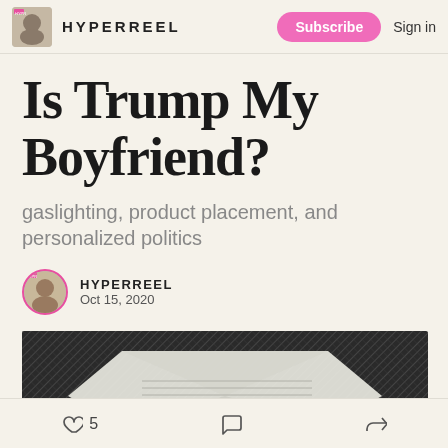HYPERREEL | Subscribe | Sign in
Is Trump My Boyfriend?
gaslighting, product placement, and personalized politics
HYPERREEL
Oct 15, 2020
[Figure (photo): Partial image showing dark hatched/engraved background with a white document/envelope and a circular seal or portrait medallion visible at the bottom center]
5 likes | comment | share